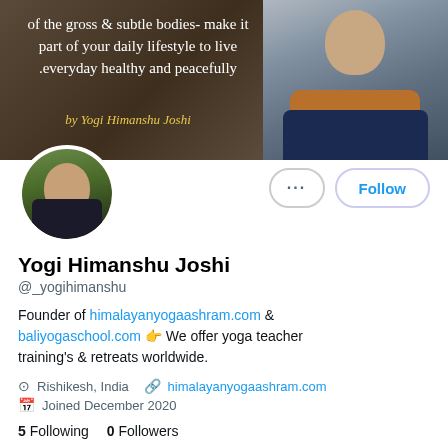[Figure (screenshot): Twitter/X profile page banner with quote text and person photo]
Yogi Himanshu Joshi
@_yogihimanshu
Founder of himalayanyogaashram.com & baliyogaschool.com 👉 We offer yoga teacher training's & retreats worldwide.
📍 Rishikesh, India 🔗 himalayanyogaashram.com 📅 Joined December 2020
5 Following   0 Followers
Not followed by anyone you're following